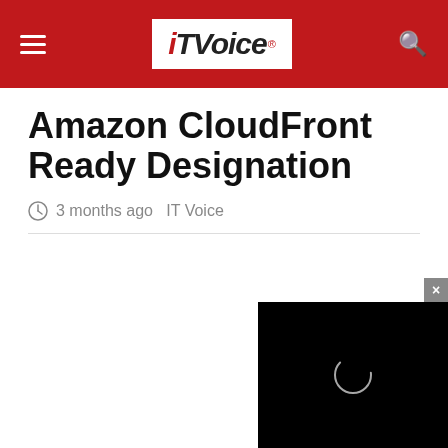IT Voice
Amazon CloudFront Ready Designation
3 months ago  IT Voice
[Figure (screenshot): Black video player overlay with a circular loading spinner, with a grey close (×) button in the top-right corner]